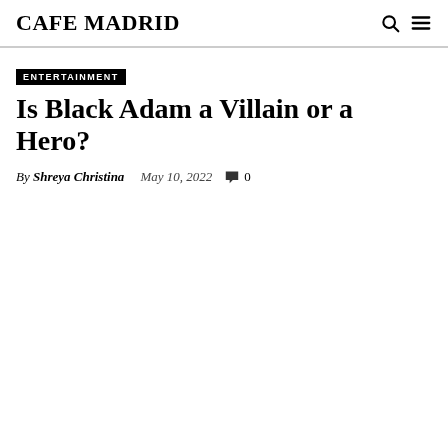CAFE MADRID
ENTERTAINMENT
Is Black Adam a Villain or a Hero?
By Shreya Christina   May 10, 2022   0